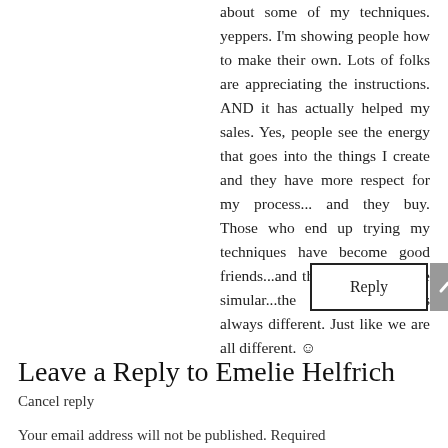about some of my techniques. yeppers. I'm showing people how to make their own. Lots of folks are appreciating the instructions. AND it has actually helped my sales. Yes, people see the energy that goes into the things I create and they have more respect for my process... and they buy. Those who end up trying my techniques have become good friends...and though the techs are simular...the end product is always different. Just like we are all different. ☺
Reply
Leave a Reply to Emelie Helfrich
Cancel reply
Your email address will not be published. Required